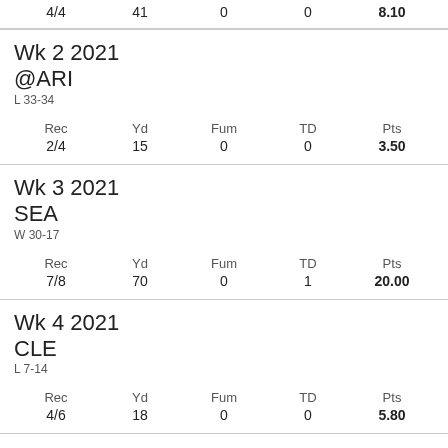| Rec | Yd | Fum | TD | Pts |
| --- | --- | --- | --- | --- |
| 4/4 | 41 | 0 | 0 | 8.10 |
Wk 2 2021
@ARI
L 33-34
| Rec | Yd | Fum | TD | Pts |
| --- | --- | --- | --- | --- |
| 2/4 | 15 | 0 | 0 | 3.50 |
Wk 3 2021
SEA
W 30-17
| Rec | Yd | Fum | TD | Pts |
| --- | --- | --- | --- | --- |
| 7/8 | 70 | 0 | 1 | 20.00 |
Wk 4 2021
CLE
L 7-14
| Rec | Yd | Fum | TD | Pts |
| --- | --- | --- | --- | --- |
| 4/6 | 18 | 0 | 0 | 5.80 |